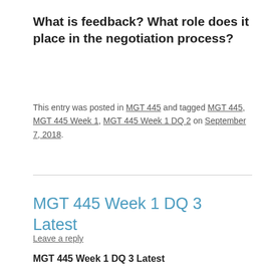What is feedback? What role does it place in the negotiation process?
This entry was posted in MGT 445 and tagged MGT 445, MGT 445 Week 1, MGT 445 Week 1 DQ 2 on September 7, 2018.
MGT 445 Week 1 DQ 3 Latest
Leave a reply
MGT 445 Week 1 DQ 3 Latest